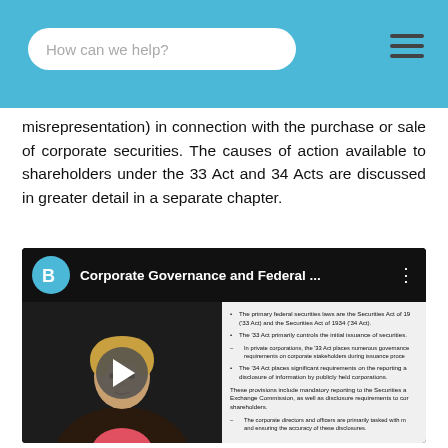How can we help?
misrepresentation) in connection with the purchase or sale of corporate securities. The causes of action available to shareholders under the 33 Act and 34 Acts are discussed in greater detail in a separate chapter.
[Figure (screenshot): YouTube-style video thumbnail for 'Corporate Governance and Federal ...' showing a presenter on the left and slide bullet points on the right with a play button overlay. The slide text includes bullet points about primary federal securities laws (Securities Act of 1933 and Securities Act of 1934), the '33 Act controlling initial issuance of securities, the '34 Act placing reporting and disclosure requirements, and corporate directors/officers being tasked with ensuring accuracy of disclosures.]